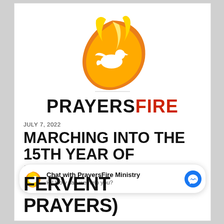[Figure (logo): PrayersFire logo: a white dove silhouette inside a circular flame made of orange and yellow fire, on white background]
PRAYERSFIRE
JULY 7, 2022
MARCHING INTO THE 15TH YEAR OF PRAYERSFIRE
[Figure (infographic): Chat widget: Chat with PrayersFire Ministry — Hi! How can we help you? with messenger icon]
FERVENT PRAYERS)